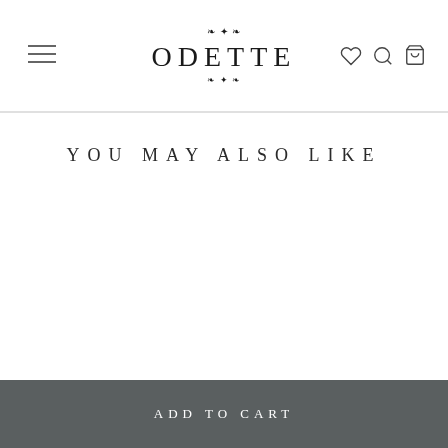ODETTE — navigation header with hamburger menu, logo, heart/search/cart icons
YOU MAY ALSO LIKE
ADD TO CART